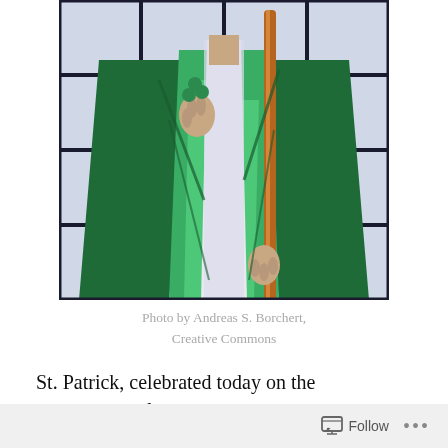[Figure (photo): Stained glass window depicting St. Patrick in green robes holding a staff, with blue/lavender background panels and black lead lines in a grid pattern.]
Photo by Andreas S. Borchert, Creative Commons
St. Patrick, celebrated today on the anniversary of his death, was an actual person whose history is fairly well known.  He was born in the mid-fifth century in Roman Britain, the son of Christians active in the early church.  He was not a believer himself in his early life. By his own